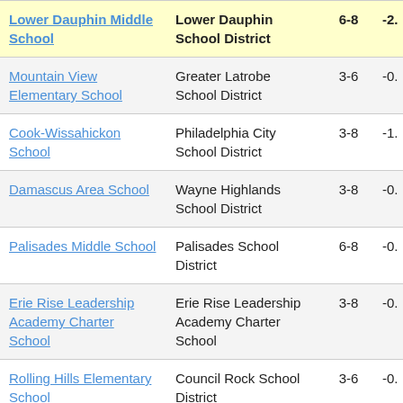| School | District | Grades | Value |
| --- | --- | --- | --- |
| Lower Dauphin Middle School | Lower Dauphin School District | 6-8 | -2. |
| Mountain View Elementary School | Greater Latrobe School District | 3-6 | -0. |
| Cook-Wissahickon School | Philadelphia City School District | 3-8 | -1. |
| Damascus Area School | Wayne Highlands School District | 3-8 | -0. |
| Palisades Middle School | Palisades School District | 6-8 | -0. |
| Erie Rise Leadership Academy Charter School | Erie Rise Leadership Academy Charter School | 3-8 | -0. |
| Rolling Hills Elementary School | Council Rock School District | 3-6 | -0. |
| Mastery Charter | Mastery Charter School |  |  |